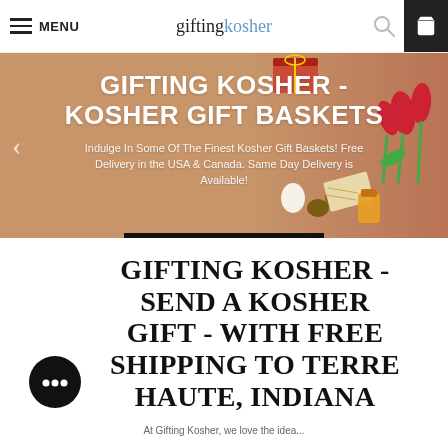MENU | giftingkosher
[Figure (screenshot): Hero banner with warm brown background showing 'GIFTING KOSHER - KOSHER GIFT BASKETS' in large white bold text, with subtitle 'Indulge In Some Of The Finest Kosher Gift Baskets! Free Delivery in the USA & Canada. Same Day Delivery is Available!' and decorative food/gift imagery on the right side.]
GIFTING KOSHER - SEND A KOSHER GIFT - WITH FREE SHIPPING TO TERRE HAUTE, INDIANA
At Gifting Kosher, we love the idea...